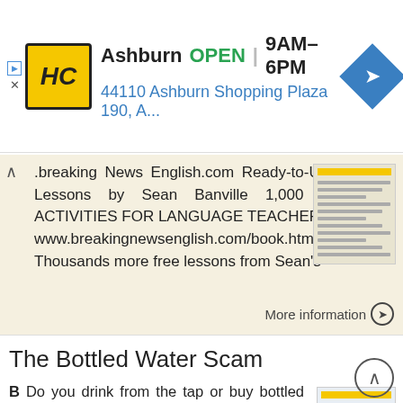[Figure (other): Advertisement banner for Haverty's (HC logo) showing Ashburn store location, OPEN 9AM-6PM, address 44110 Ashburn Shopping Plaza 190, A... with navigation icon]
.breaking News English.com Ready-to-Use English Lessons by Sean Banville 1,000 IDEAS & ACTIVITIES FOR LANGUAGE TEACHERS www.breakingnewsenglish.com/book.html    Thousands more free lessons from Sean's
More information ➔
The Bottled Water Scam
B Do you drink from the tap or buy bottled water? Explain the reasons behind your choice. Say whether you think the following statements are true or false. Then read the article and check your ideas. For